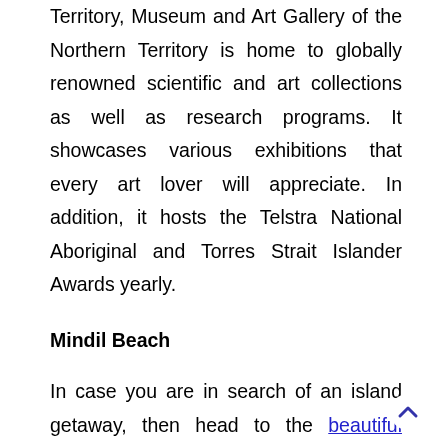Territory, Museum and Art Gallery of the Northern Territory is home to globally renowned scientific and art collections as well as research programs. It showcases various exhibitions that every art lover will appreciate. In addition, it hosts the Telstra National Aboriginal and Torres Strait Islander Awards yearly.
Mindil Beach
In case you are in search of an island getaway, then head to the beautiful Mindil Beach. It is located close to the central business district, so it is easy to go here and spend some relaxation. This stunning beach offers a lot of things you can do, such as catching a fire show, massage therapy, various water activities, and food tripping. Furthermore, you can shop till you drop at